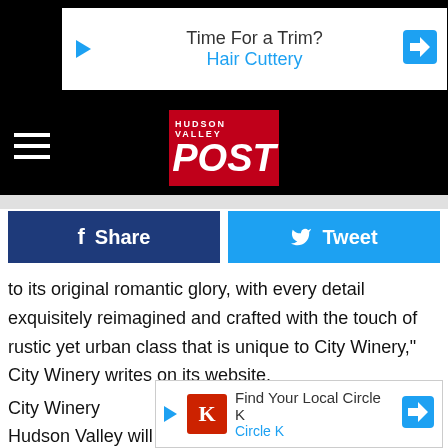[Figure (screenshot): Advertisement banner: 'Time For a Trim? Hair Cuttery' with play icon and navigation arrow on black background]
[Figure (logo): Hudson Valley POST logo on red background with hamburger menu icon on black navigation bar]
[Figure (infographic): Facebook Share button (dark blue) and Tweet button (light blue) side by side]
to its original romantic glory, with every detail exquisitely reimagined and crafted with the touch of rustic yet urban class that is unique to City Winery," City Winery writes on its website.
City Winery Hudson Valley will feature a fully functioning winery,
[Figure (screenshot): Advertisement banner: 'Find Your Local Circle K' with Circle K logo and navigation arrow]